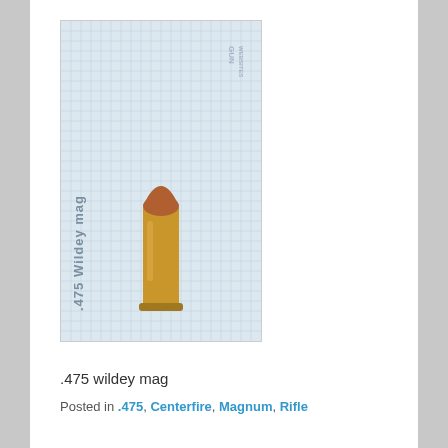[Figure (photo): Photo of a .475 Wildey Magnum cartridge/bullet standing upright against a grid background, with text '.475 Wildey mag' and 'GUN WEBSITES' watermark overlay.]
.475 wildey mag
Posted in .475, Centerfire, Magnum, Rifle